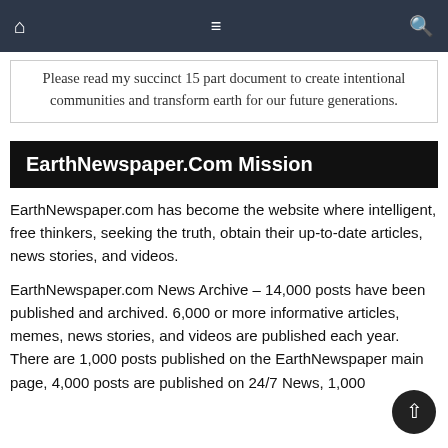Navigation bar with home, menu, and search icons
Please read my succinct 15 part document to create intentional communities and transform earth for our future generations.
EarthNewspaper.Com Mission
EarthNewspaper.com has become the website where intelligent, free thinkers, seeking the truth, obtain their up-to-date articles, news stories, and videos.
EarthNewspaper.com News Archive – 14,000 posts have been published and archived. 6,000 or more informative articles, memes, news stories, and videos are published each year. There are 1,000 posts published on the EarthNewspaper main page, 4,000 posts are published on 24/7 News, 1,000